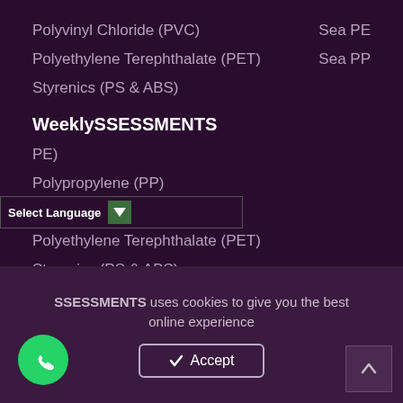Polyvinyl Chloride (PVC)
Sea PE
Polyethylene Terephthalate (PET)
Sea PP
Styrenics (PS & ABS)
WeeklySSESSMENTS
PE)
Polypropylene (PP)
Polyvinyl Chloride (PVC)
Polyethylene Terephthalate (PET)
Styrenics (PS & ABS)
MonthlySSESSMENTS
Polyethylene (PE)
Polypropylene (PP)
QuarterlySSESSMENTS
SSESSMENTS uses cookies to give you the best online experience
Accept